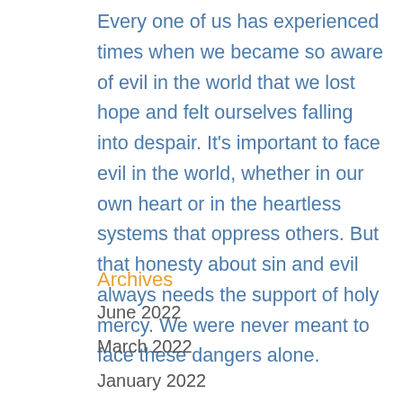Every one of us has experienced times when we became so aware of evil in the world that we lost hope and felt ourselves falling into despair. It's important to face evil in the world, whether in our own heart or in the heartless systems that oppress others. But that honesty about sin and evil always needs the support of holy mercy. We were never meant to face these dangers alone.
Archives
June 2022
March 2022
January 2022